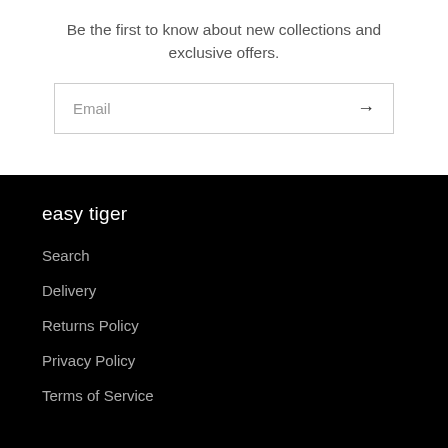Be the first to know about new collections and exclusive offers.
Email →
easy tiger
Search
Delivery
Returns Policy
Privacy Policy
Terms of Service